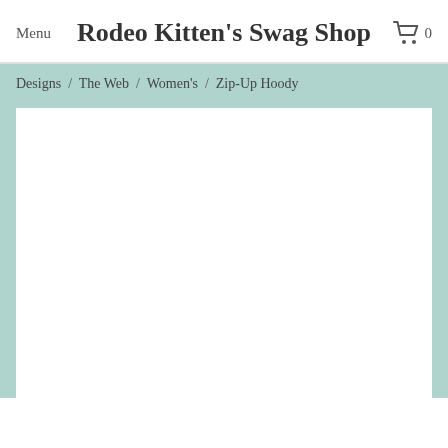Menu   Rodeo Kitten's Swag Shop   0
Designs  /  The Web  /  Women's  /  Zip-Up Hoody
[Figure (other): White product image area (blank/loading) for a Zip-Up Hoody product page]